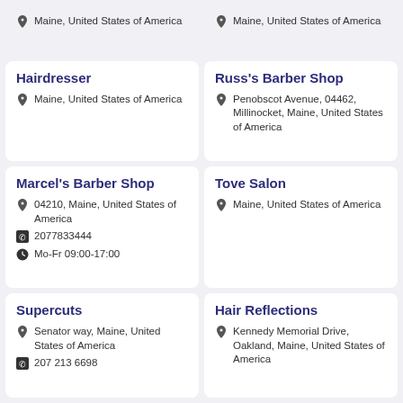Maine, United States of America
Maine, United States of America
Hairdresser
Maine, United States of America
Russ's Barber Shop
Penobscot Avenue, 04462, Millinocket, Maine, United States of America
Marcel's Barber Shop
04210, Maine, United States of America
2077833444
Mo-Fr 09:00-17:00
Tove Salon
Maine, United States of America
Supercuts
Senator way, Maine, United States of America
207 213 6698
Hair Reflections
Kennedy Memorial Drive, Oakland, Maine, United States of America